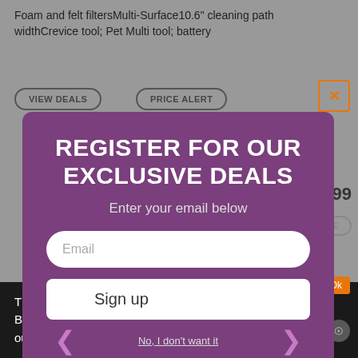Foam and felt filtersMulti-Surface10.6" cleaning path widthCrevice tool; Pet Multi tool; battery
VIEW DEALS
PRICE ALERT
[Figure (screenshot): Close button with orange X icon in top-right area]
$219.99
ADD TO COMPARE
REGISTER FOR OUR EXCLUSIVE DEALS
Enter your email below
Email
Sign up
No, I don't want it
This site uses cookies to enhance your web site experience. By continuing to browse or use this site, you are agreeing to our use of cookies. See our privacy policy here.